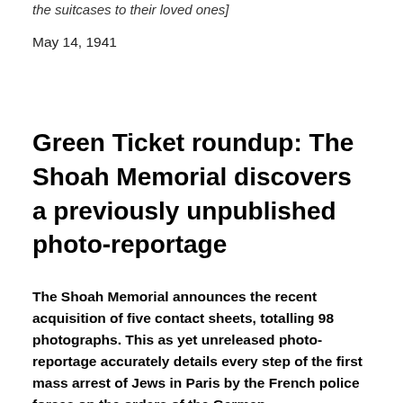the suitcases to their loved ones]
May 14, 1941
Green Ticket roundup: The Shoah Memorial discovers a previously unpublished photo-reportage
The Shoah Memorial announces the recent acquisition of five contact sheets, totalling 98 photographs. This as yet unreleased photo-reportage accurately details every step of the first mass arrest of Jews in Paris by the French police forces on the orders of the German